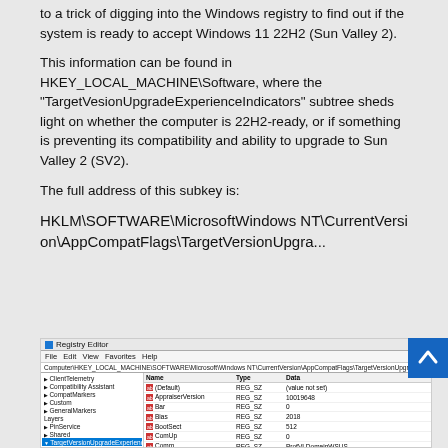to a trick of digging into the Windows registry to find out if the system is ready to accept Windows 11 22H2 (Sun Valley 2).
This information can be found in HKEY_LOCAL_MACHINE\Software, where the “TargetVesionUpgradeExperienceIndicators” subtree sheds light on whether the computer is 22H2-ready, or if something is preventing its compatibility and ability to upgrade to Sun Valley 2 (SV2).
The full address of this subkey is:
HKLM\SOFTWARE\MicrosoftWindows NT\CurrentVersion\AppCompatFlags\TargetVersionUpgra...
[Figure (screenshot): Windows Registry Editor screenshot showing the TargetVersionUpgradeExperienceIndicators key with values including AppraiserVersion, Bar, Bias, BootSect, ComUp, Comm entries with REG_SZ type and their data values.]